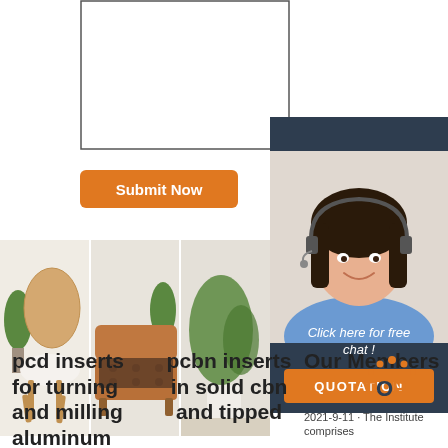[Figure (screenshot): Form input box (outlined rectangle) and 24/7 Online badge on dark background]
[Figure (photo): Customer service agent woman with headset smiling, with 24/7 Online badge, Click here for free chat text, and orange QUOTATION button]
[Figure (photo): Orange Submit Now button]
[Figure (photo): Three product photos: a wooden chair with white fur seat, a brown leather sofa with dark fur throw, and a white planter with plant]
pcd inserts for turning and milling aluminum
pcbn inserts in solid cbn and tipped
Our Members
2021-9-11 · The Institute comprises